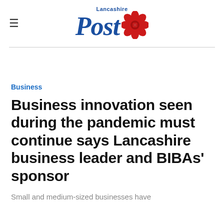Lancashire Post
Business
Business innovation seen during the pandemic must continue says Lancashire business leader and BIBAs' sponsor
Small and medium-sized businesses have